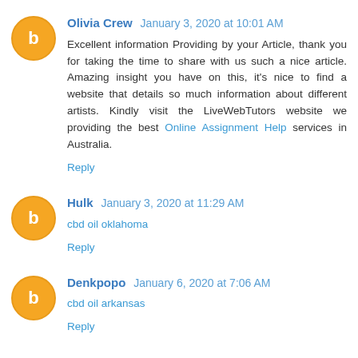Olivia Crew January 3, 2020 at 10:01 AM
Excellent information Providing by your Article, thank you for taking the time to share with us such a nice article. Amazing insight you have on this, it's nice to find a website that details so much information about different artists. Kindly visit the LiveWebTutors website we providing the best Online Assignment Help services in Australia.
Reply
Hulk January 3, 2020 at 11:29 AM
cbd oil oklahoma
Reply
Denkpopo January 6, 2020 at 7:06 AM
cbd oil arkansas
Reply